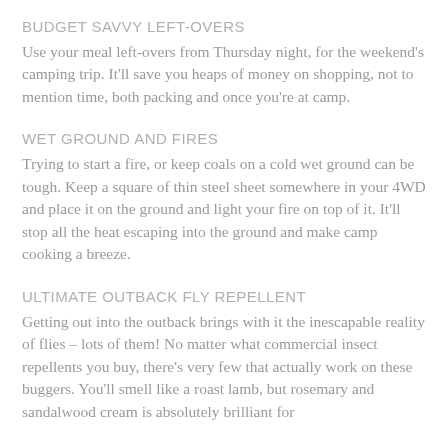BUDGET SAVVY LEFT-OVERS
Use your meal left-overs from Thursday night, for the weekend's camping trip. It'll save you heaps of money on shopping, not to mention time, both packing and once you're at camp.
WET GROUND AND FIRES
Trying to start a fire, or keep coals on a cold wet ground can be tough. Keep a square of thin steel sheet somewhere in your 4WD and place it on the ground and light your fire on top of it. It'll stop all the heat escaping into the ground and make camp cooking a breeze.
ULTIMATE OUTBACK FLY REPELLENT
Getting out into the outback brings with it the inescapable reality of flies – lots of them! No matter what commercial insect repellents you buy, there's very few that actually work on these buggers. You'll smell like a roast lamb, but rosemary and sandalwood cream is absolutely brilliant for